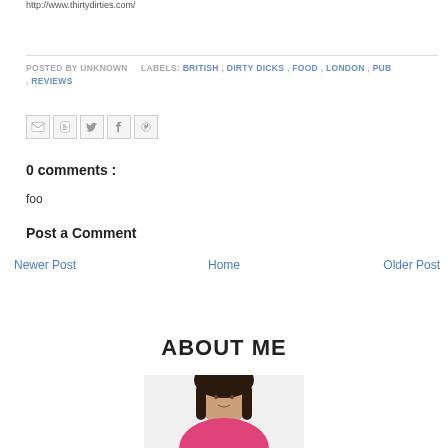http://www.thirtydirties.com/
POSTED BY UNKNOWN   LABELS: BRITISH , DIRTY DICKS , FOOD , LONDON , PUB , REVIEWS
[Figure (other): Social sharing icons: Gmail, Blogger, Twitter, Facebook, Pinterest]
0 comments :
foo
Post a Comment
Newer Post   Home   Older Post
ABOUT ME
[Figure (photo): Photo of a person with dark hair and pink clothing, partially visible at bottom of page]